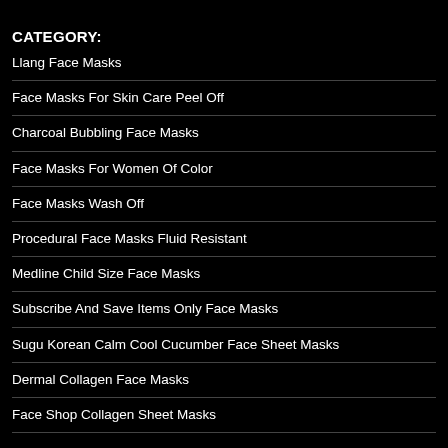CATEGORY:
Llang Face Masks
Face Masks For Skin Care Peel Off
Charcoal Bubbling Face Masks
Face Masks For Women Of Color
Face Masks Wash Off
Procedural Face Masks Fluid Resistant
Medline Child Size Face Masks
Subscribe And Save Items Only Face Masks
Sugu Korean Calm Cool Cucumber Face Sheet Masks
Dermal Collagen Face Masks
Face Shop Collagen Sheet Masks